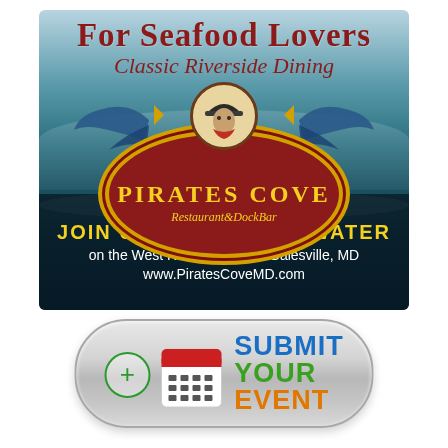[Figure (illustration): Pirates Cove Restaurant & DockBar advertisement. Ocean/water background with teal and dark blue waves. Header text 'FOR SEAFOOD LOVERS' in dark red bold, 'Classic Riverside Dining' in italic dark red. Central logo: dark red oval with gold border featuring a pirate figure at top center with blue flags, text 'PIRATES COVE' in gold, 'Restaurant & DockBar' in italic. Bottom dark band with text 'JOIN US BY LAND OR WATER' in yellow bold caps, 'on the West River in Historic Galesville, MD' and 'www.PiratesCoveMD.com' in white.]
[Figure (illustration): Submit Your Event button graphic. Rounded pill-shaped silver/gray gradient button. Left side has a green plus-circle icon and a calendar icon with red header and grid. Right side has 'SUBMIT' in blue bold, 'YOUR' in green bold, 'EVENT' in orange bold.]